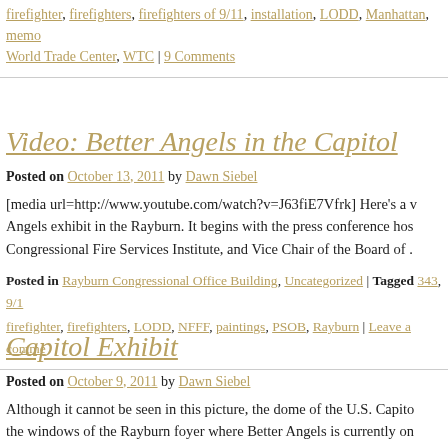firefighter, firefighters, firefighters of 9/11, installation, LODD, Manhattan, memo… World Trade Center, WTC | 9 Comments
Video: Better Angels in the Capitol
Posted on October 13, 2011 by Dawn Siebel
[media url=http://www.youtube.com/watch?v=J63fiE7Vfrk] Here's a v… Angels exhibit in the Rayburn. It begins with the press conference hos… Congressional Fire Services Institute, and Vice Chair of the Board of .
Posted in Rayburn Congressional Office Building, Uncategorized | Tagged 343, 9/1… firefighter, firefighters, LODD, NFFF, paintings, PSOB, Rayburn | Leave a comme…
Capitol Exhibit
Posted on October 9, 2011 by Dawn Siebel
Although it cannot be seen in this picture, the dome of the U.S. Capito… the windows of the Rayburn foyer where Better Angels is currently on…
Continue reading →